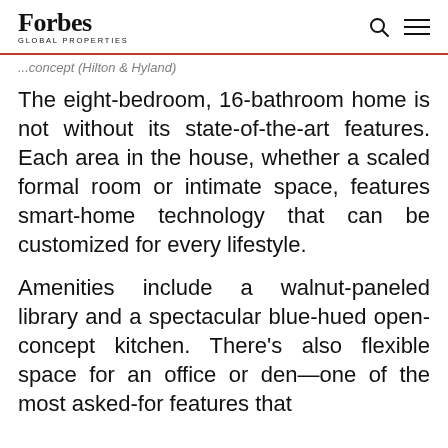Forbes Global Properties
...concept (Hilton & Hyland)
The eight-bedroom, 16-bathroom home is not without its state-of-the-art features. Each area in the house, whether a scaled formal room or intimate space, features smart-home technology that can be customized for every lifestyle.
Amenities include a walnut-paneled library and a spectacular blue-hued open-concept kitchen. There’s also flexible space for an office or den—one of the most asked-for features that...